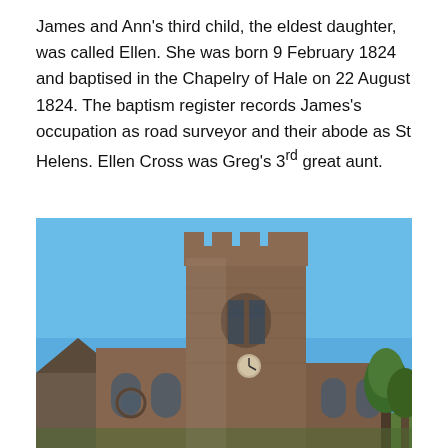James and Ann's third child, the eldest daughter, was called Ellen. She was born 9 February 1824 and baptised in the Chapelry of Hale on 22 August 1824. The baptism register records James's occupation as road surveyor and their abode as St Helens. Ellen Cross was Greg's 3rd great aunt.
[Figure (photo): Photograph of a historic stone church with a square crenellated tower, Gothic-arched windows, and red/brown sandstone construction, photographed against a clear blue sky.]